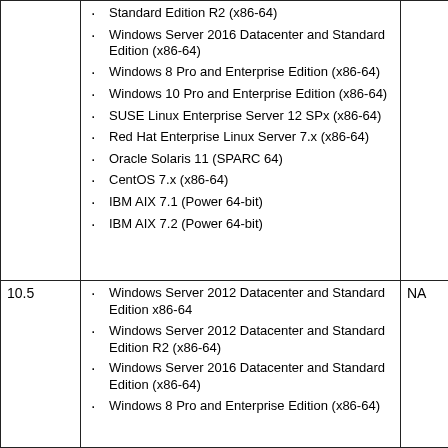| Version | Supported OS | NA |
| --- | --- | --- |
|  | Standard Edition R2 (x86-64)
Windows Server 2016 Datacenter and Standard Edition (x86-64)
Windows 8 Pro and Enterprise Edition (x86-64)
Windows 10 Pro and Enterprise Edition (x86-64)
SUSE Linux Enterprise Server 12 SPx (x86-64)
Red Hat Enterprise Linux Server 7.x (x86-64)
Oracle Solaris 11 (SPARC 64)
CentOS 7.x (x86-64)
IBM AIX 7.1 (Power 64-bit)
IBM AIX 7.2 (Power 64-bit) |  |
| 10.5 | Windows Server 2012 Datacenter and Standard Edition x86-64
Windows Server 2012 Datacenter and Standard Edition R2 (x86-64)
Windows Server 2016 Datacenter and Standard Edition (x86-64)
Windows 8 Pro and Enterprise Edition (x86-64) | NA |